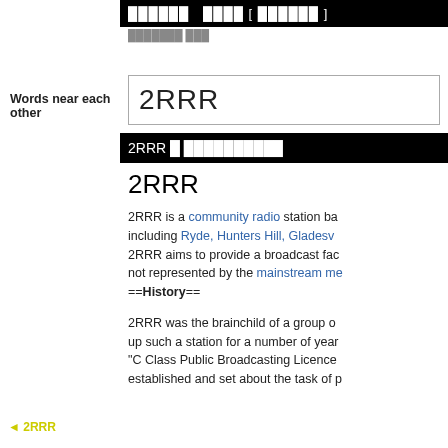██████  ████ [ ██████ ]
███████ ███
Words near each other
2RRR
2RRR █ ██████████
2RRR
2RRR is a community radio station ba... including Ryde, Hunters Hill, Gladesv... 2RRR aims to provide a broadcast fac... not represented by the mainstream me...
==History==
2RRR was the brainchild of a group o... up such a station for a number of year... "C Class Public Broadcasting Licence... established and set about the task of p...
◄ 2RRR